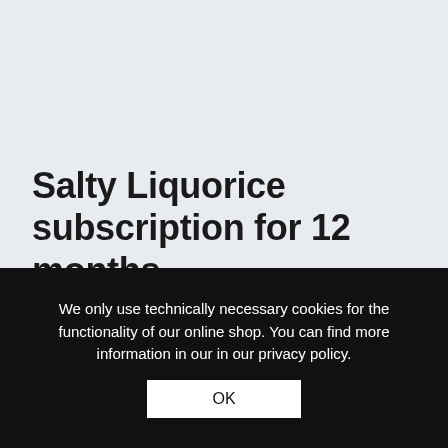Salty Liquorice subscription for 12 months
With this annual subscription you will taste our salty and strong liquorice assortment from Iceland to Sicily in one year. The liquorice consignments arrive in your letterbox on the 10th of every month. Please send us an e-mail or
We only use technically necessary cookies for the functionality of our online shop. You can find more information in our in our privacy policy.